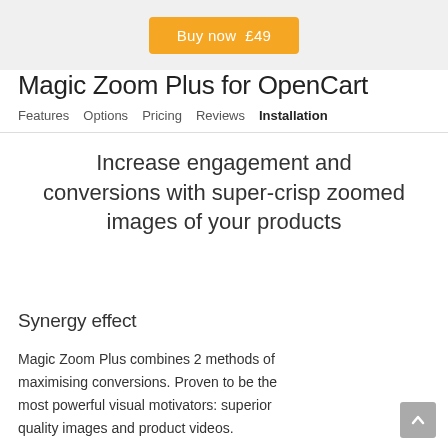Buy now  £49
Magic Zoom Plus for OpenCart
Features   Options   Pricing   Reviews   Installation
Increase engagement and conversions with super-crisp zoomed images of your products
Synergy effect
Magic Zoom Plus combines 2 methods of maximising conversions. Proven to be the most powerful visual motivators: superior quality images and product videos.